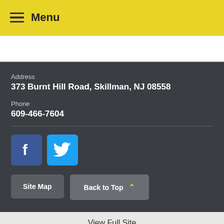Menu
Address
373 Burnt Hill Road, Skillman, NJ 08558
Phone
609-466-7604
[Figure (other): Facebook and Twitter social media icon buttons in footer]
Site Map
Back to Top
View Full Site